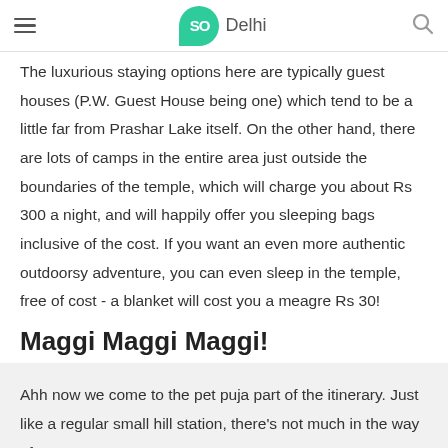SO Delhi
The luxurious staying options here are typically guest houses (P.W. Guest House being one) which tend to be a little far from Prashar Lake itself. On the other hand, there are lots of camps in the entire area just outside the boundaries of the temple, which will charge you about Rs 300 a night, and will happily offer you sleeping bags inclusive of the cost. If you want an even more authentic outdoorsy adventure, you can even sleep in the temple, free of cost - a blanket will cost you a meagre Rs 30!
Maggi Maggi Maggi!
Ahh now we come to the pet puja part of the itinerary. Just like a regular small hill station, there's not much in the way of restaurants